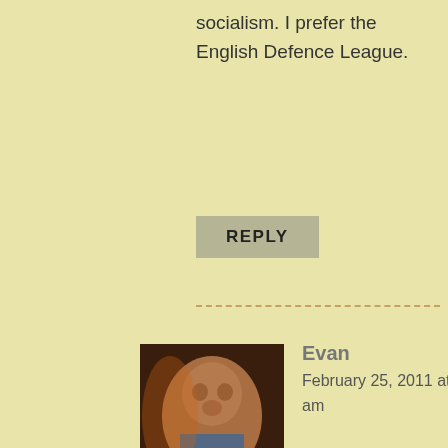socialism. I prefer the English Defence League.
REPLY
Evan
February 25, 2011 at 4:16 am
[Figure (photo): Profile photo of a man named Evan, shown in dim/warm lighting, side profile view.]
I understand. There's a limp-wristed faggot in all of us, myself gloriously excluded. xoxoxoxo